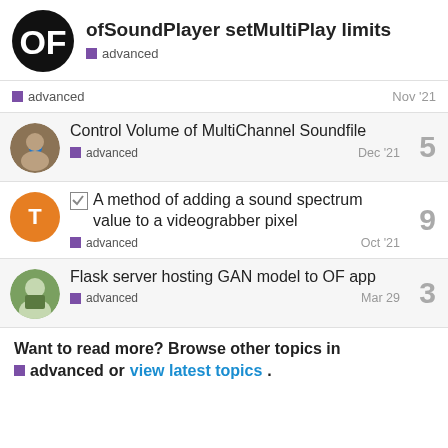ofSoundPlayer setMultiPlay limits — advanced
advanced — Nov '21
Control Volume of MultiChannel Soundfile — advanced — Dec '21 — replies: 5
A method of adding a sound spectrum value to a videograbber pixel — advanced — Oct '21 — replies: 9
Flask server hosting GAN model to OF app — advanced — Mar 29 — replies: 3
Want to read more? Browse other topics in advanced or view latest topics.